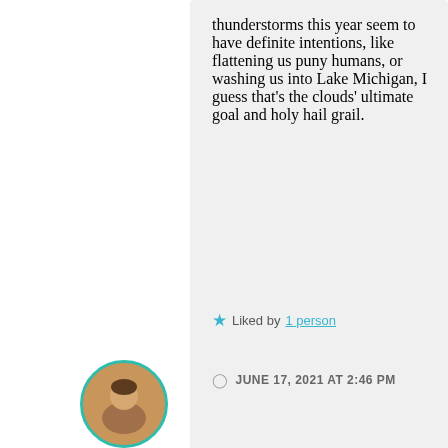thunderstorms this year seem to have definite intentions, like flattening us puny humans, or washing us into Lake Michigan, I guess that’s the clouds’ ultimate goal and holy hail grail.
★ Liked by 1 person
JUNE 17, 2021 AT 2:46 PM
↪ REPLY